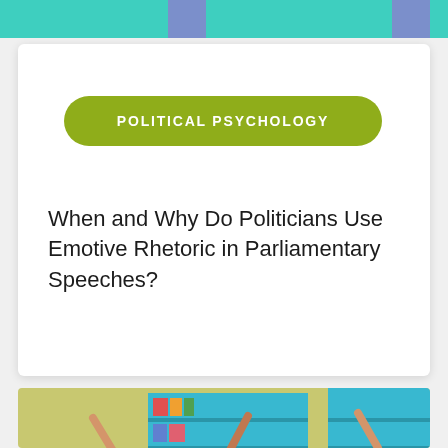[Figure (illustration): Top decorative banner with teal and blue-purple block colors]
POLITICAL PSYCHOLOGY
When and Why Do Politicians Use Emotive Rhetoric in Parliamentary Speeches?
[Figure (photo): Children in a classroom with hands raised, bookshelves in background with teal and blue colors]